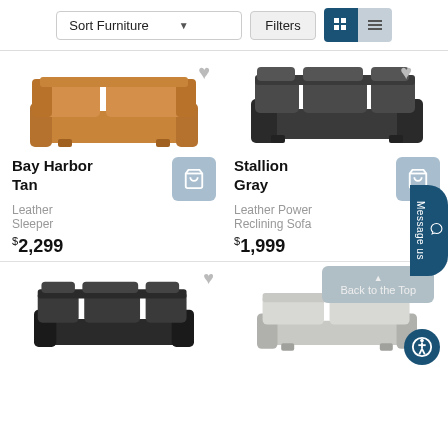[Figure (screenshot): E-commerce furniture listing page showing sort/filter toolbar, two product cards (Bay Harbor Tan Leather Sleeper $2,299 and Stallion Gray Leather Power Reclining Sofa $1,999), and partial bottom row with two more sofas.]
Sort Furniture
Filters
Bay Harbor Tan
Leather Sleeper
$2,299
Stallion Gray
Leather Power Reclining Sofa
$1,999
Message us
Back to the Top